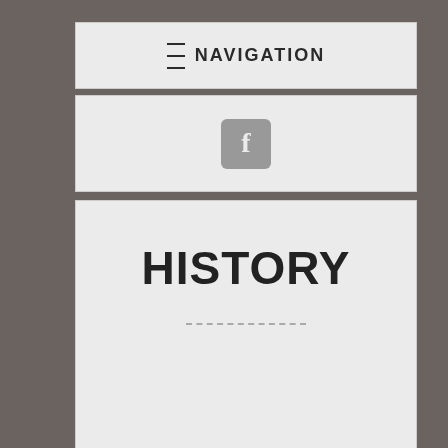≡ NAVIGATION
[Figure (logo): Facebook icon button - grey rounded square with white f letter]
HISTORY